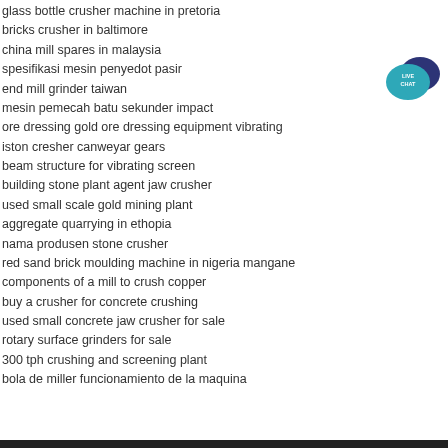glass bottle crusher machine in pretoria
bricks crusher in baltimore
china mill spares in malaysia
spesifikasi mesin penyedot pasir
end mill grinder taiwan
mesin pemecah batu sekunder impact
ore dressing gold ore dressing equipment vibrating
iston cresher canweyar gears
beam structure for vibrating screen
building stone plant agent jaw crusher
used small scale gold mining plant
aggregate quarrying in ethopia
nama produsen stone crusher
red sand brick moulding machine in nigeria mangane
components of a mill to crush copper
buy a crusher for concrete crushing
used small concrete jaw crusher for sale
rotary surface grinders for sale
300 tph crushing and screening plant
bola de miller funcionamiento de la maquina
[Figure (illustration): Live Chat button with speech bubble icons in teal and dark blue, with text LIVE CHAT in white]